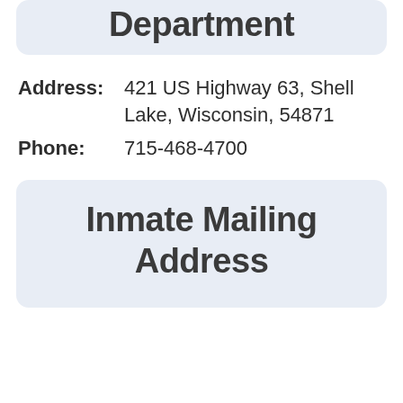Department
Address: 421 US Highway 63, Shell Lake, Wisconsin, 54871
Phone: 715-468-4700
Inmate Mailing Address